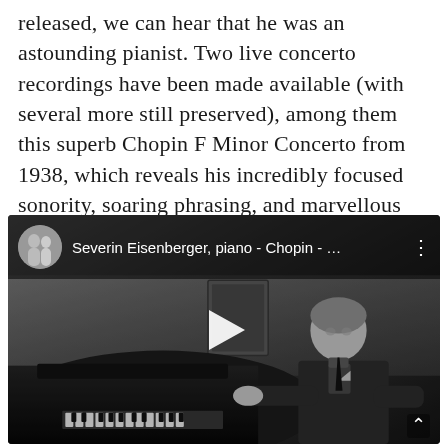released, we can hear that he was an astounding pianist. Two live concerto recordings have been made available (with several more still preserved), among them this superb Chopin F Minor Concerto from 1938, which reveals his incredibly focused sonority, soaring phrasing, and marvellous timing.
[Figure (screenshot): YouTube video embed showing a black-and-white photograph of pianist Severin Eisenberger seated at a grand piano, wearing a dark suit. The video thumbnail includes a top overlay bar with a circular channel avatar, the title 'Severin Eisenberger, piano - Chopin - ...' in white text, a three-dot menu icon, and a white play button triangle in the center of the image. A scroll-up arrow appears at the bottom right.]